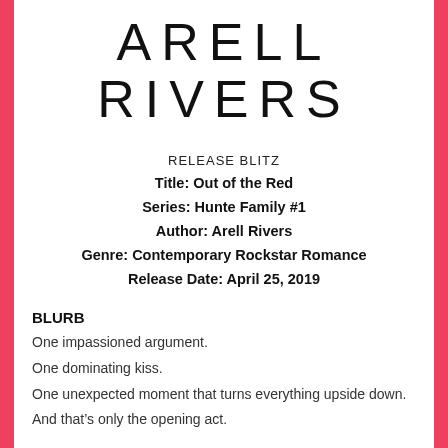ARELL RIVERS
RELEASE BLITZ
Title: Out of the Red
Series: Hunte Family #1
Author: Arell Rivers
Genre: Contemporary Rockstar Romance
Release Date: April 25, 2019
BLURB
One impassioned argument.
One dominating kiss.
One unexpected moment that turns everything upside down.
And that’s only the opening act.